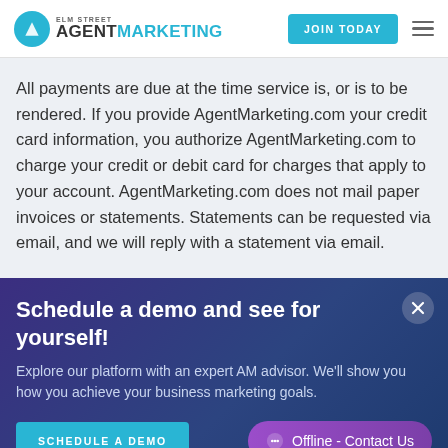Elm Street Agent Marketing | JOIN TODAY
All payments are due at the time service is, or is to be rendered. If you provide AgentMarketing.com your credit card information, you authorize AgentMarketing.com to charge your credit or debit card for charges that apply to your account. AgentMarketing.com does not mail paper invoices or statements. Statements can be requested via email, and we will reply with a statement via email.
Schedule a demo and see for yourself!
Explore our platform with an expert AM advisor. We'll show you how you achieve your business marketing goals.
SCHEDULE A DEMO
Offline - Contact Us